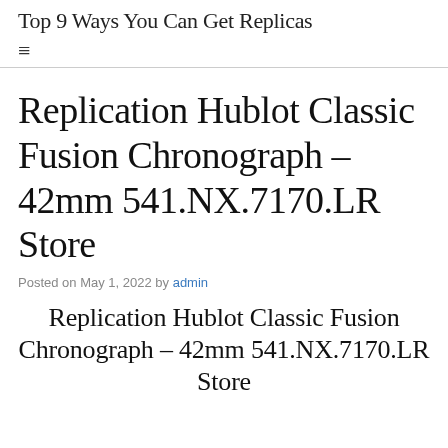Top 9 Ways You Can Get Replicas
Replication Hublot Classic Fusion Chronograph – 42mm 541.NX.7170.LR Store
Posted on May 1, 2022 by admin
Replication Hublot Classic Fusion Chronograph – 42mm 541.NX.7170.LR Store